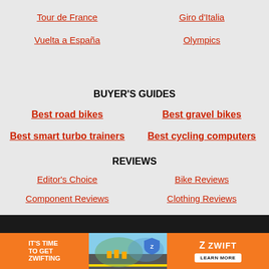Tour de France
Giro d'Italia
Vuelta a España
Olympics
BUYER'S GUIDES
Best road bikes
Best gravel bikes
Best smart turbo trainers
Best cycling computers
REVIEWS
Editor's Choice
Bike Reviews
Component Reviews
Clothing Reviews
[Figure (infographic): Zwift advertisement banner: orange background with 'IT'S TIME TO GET ZWIFTING' text, cycling photo, and Zwift logo with Learn More button]